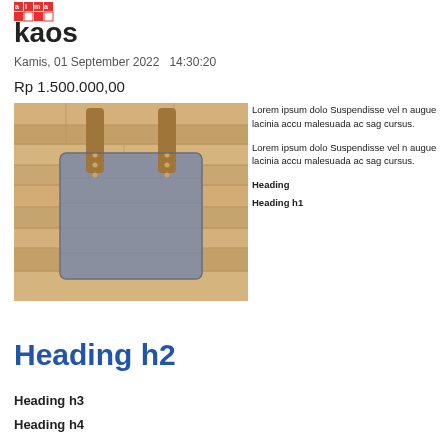[Figure (logo): Red grid/mosaic logo icon with letters]
kaos
Kamis, 01 September 2022   14:30:20
Rp 1.500.000,00
[Figure (photo): Gray linen tote bag with brown leather handles lying flat on a light wood plank surface]
Lorem ipsum dolo Suspendisse vel n augue lacinia accu malesuada ac sag cursus.
Lorem ipsum dolo Suspendisse vel n augue lacinia accu malesuada ac sag cursus.
Heading
Heading h1
Heading h2
Heading h3
Heading h4